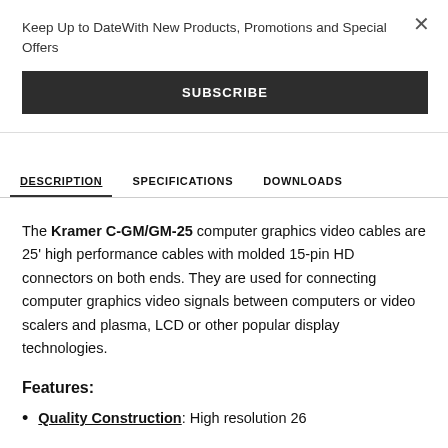Keep Up to Date With New Products, Promotions and Special Offers
SUBSCRIBE
DESCRIPTION | SPECIFICATIONS | DOWNLOADS
The Kramer C-GM/GM-25 computer graphics video cables are 25' high performance cables with molded 15-pin HD connectors on both ends. They are used for connecting computer graphics video signals between computers or video scalers and plasma, LCD or other popular display technologies.
Features:
Quality Construction: High resolution 26